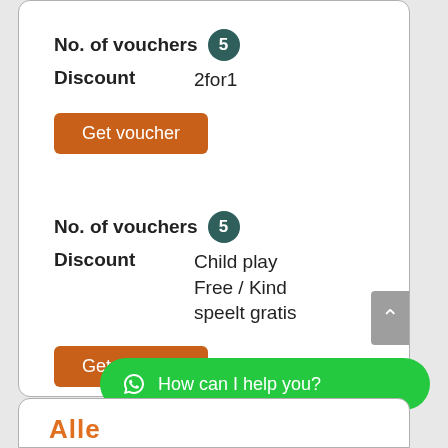No. of vouchers 5
Discount   2for1
Get voucher
No. of vouchers 5
Discount   Child play Free / Kind speelt gratis
Get voucher
How can I help you?